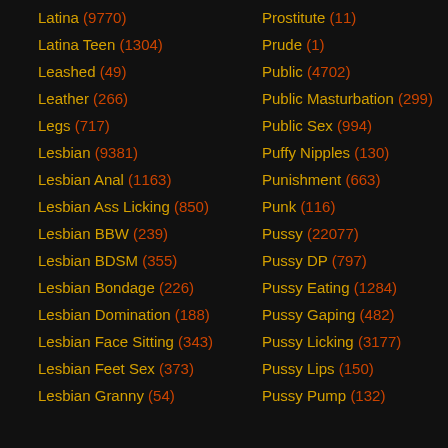Latina (9770)
Latina Teen (1304)
Leashed (49)
Leather (266)
Legs (717)
Lesbian (9381)
Lesbian Anal (1163)
Lesbian Ass Licking (850)
Lesbian BBW (239)
Lesbian BDSM (355)
Lesbian Bondage (226)
Lesbian Domination (188)
Lesbian Face Sitting (343)
Lesbian Feet Sex (373)
Lesbian Granny (54)
Prostitute (11)
Prude (1)
Public (4702)
Public Masturbation (299)
Public Sex (994)
Puffy Nipples (130)
Punishment (663)
Punk (116)
Pussy (22077)
Pussy DP (797)
Pussy Eating (1284)
Pussy Gaping (482)
Pussy Licking (3177)
Pussy Lips (150)
Pussy Pump (132)